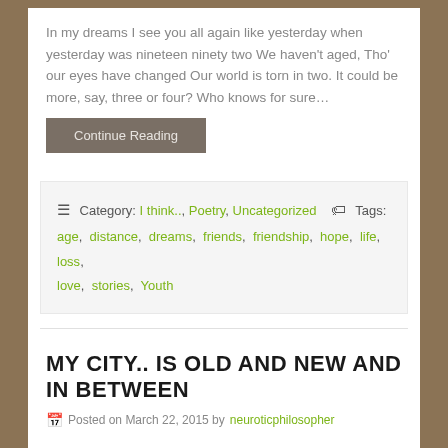In my dreams I see you all again like yesterday when yesterday was nineteen ninety two We haven't aged, Tho' our eyes have changed Our world is torn in two. It could be more, say, three or four? Who knows for sure...
Continue Reading
≡ Category: I think.., Poetry, Uncategorized 🏷 Tags: age, distance, dreams, friends, friendship, hope, life, loss, love, stories, Youth
MY CITY.. IS OLD AND NEW AND IN BETWEEN
Posted on March 22, 2015 by neuroticphilosopher